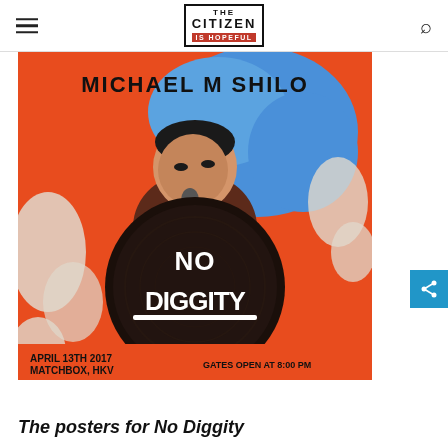THE CITIZEN IS HOPEFUL
[Figure (illustration): Event poster for 'No Diggity' featuring Michael M Shilo performing at a microphone, illustrated in an orange, blue, and white graphic style. Text on poster: MICHAEL M SHILO / NO DIGGITY / APRIL 13TH 2017 / MATCHBOX, HKV / GATES OPEN AT 8:00 PM]
The posters for No Diggity